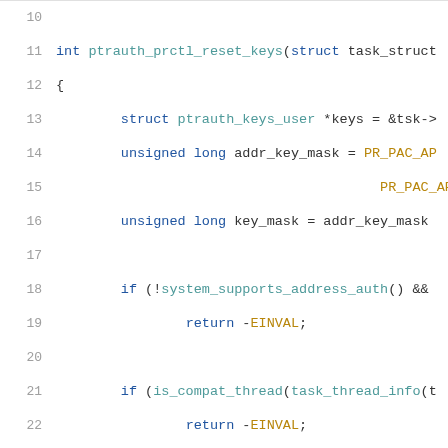[Figure (screenshot): Source code snippet showing lines 11-31 of a C function 'ptrauth_prctl_reset_keys' with syntax highlighting. Keywords in blue, function names in teal, constants/numbers in gold/yellow, default text in dark.]